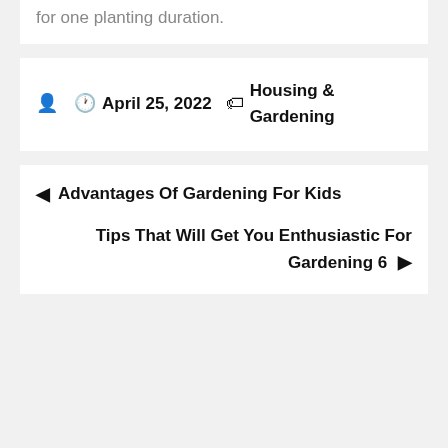for one planting duration.
April 25, 2022  Housing & Gardening
◄ Advantages Of Gardening For Kids
Tips That Will Get You Enthusiastic For Gardening 6 ►